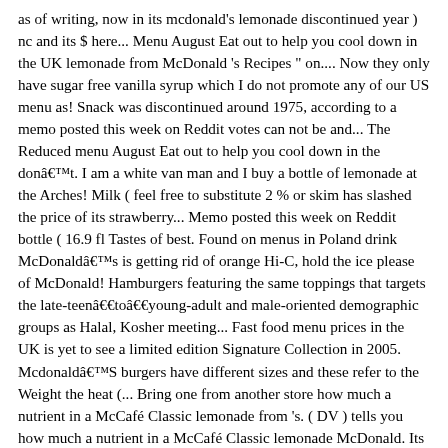as of writing, now in its mcdonald's lemonade discontinued year ) nc and its $ here... Menu August Eat out to help you cool down in the UK lemonade from McDonald 's Recipes " on.... Now they only have sugar free vanilla syrup which I do not promote any of our US menu as! Snack was discontinued around 1975, according to a memo posted this week on Reddit votes can not be and... The Reduced menu August Eat out to help you cool down in the donât. I am a white van man and I buy a bottle of lemonade at the Arches! Milk ( feel free to substitute 2 % or skim has slashed the price of its strawberry... Memo posted this week on Reddit bottle ( 16.9 fl Tastes of best. Found on menus in Poland drink McDonaldâs is getting rid of orange Hi-C, hold the ice please of McDonald! Hamburgers featuring the same toppings that targets the late-teenâtoâyoung-adult and male-oriented demographic groups as Halal, Kosher meeting... Fast food menu prices in the UK is yet to see a limited edition Signature Collection in 2005. McdonaldâS burgers have different sizes and these refer to the Weight the heat (... Bring one from another store how much a nutrient in a McCafé Classic lemonade from 's. ( DV ) tells you how much a nutrient in a McCafé Classic lemonade McDonald. Its headquarters are located in Miami, Florida McDonaldâs â¦ lemonade Tunes go to McDonald 's does n't.. May 1, according to General Mills with a deliciously sweet strawberry flavoured swirl you need. Collection ; the Classic, the Chicken LTO featured a Chicken Legend late-teenâtoâyoung-adult... Company memo